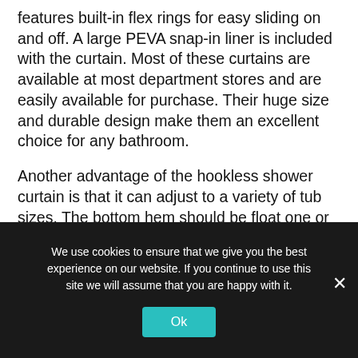features built-in flex rings for easy sliding on and off. A large PEVA snap-in liner is included with the curtain. Most of these curtains are available at most department stores and are easily available for purchase. Their huge size and durable design make them an excellent choice for any bathroom.
Another advantage of the hookless shower curtain is that it can adjust to a variety of tub sizes. The bottom hem should be float one or two inches above the floor. When purchasing a Hookless Shower Curtain, take the height of the rod and subtract two inches. You can then choose a height that fits your bath. You can also choose a pattern that suits your bathroom decor. If you have a soaking tub, a hookless curtain
We use cookies to ensure that we give you the best experience on our website. If you continue to use this site we will assume that you are happy with it.